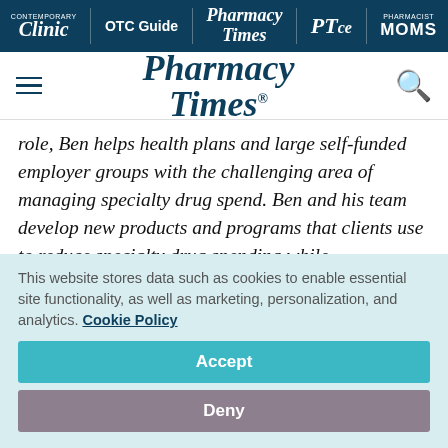Clinic | OTC Guide | Pharmacy Times | PTce | Pharmacist MOMS
[Figure (logo): Pharmacy Times logo with hamburger menu and search icon]
role, Ben helps health plans and large self-funded employer groups with the challenging area of managing specialty drug spend. Ben and his team develop new products and programs that clients use to reduce specialty drug spending while
This website stores data such as cookies to enable essential site functionality, as well as marketing, personalization, and analytics. Cookie Policy
Accept
Deny